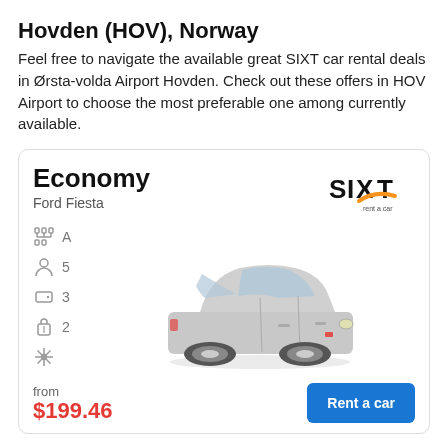Hovden (HOV), Norway
Feel free to navigate the available great SIXT car rental deals in Ørsta-volda Airport Hovden. Check out these offers in HOV Airport to choose the most preferable one among currently available.
Economy
Ford Fiesta
[Figure (logo): SIXT rent a car logo with orange swish under the X]
[Figure (photo): Silver Ford Fiesta hatchback car, side-front view on white background]
from
$199.46
Rent a car